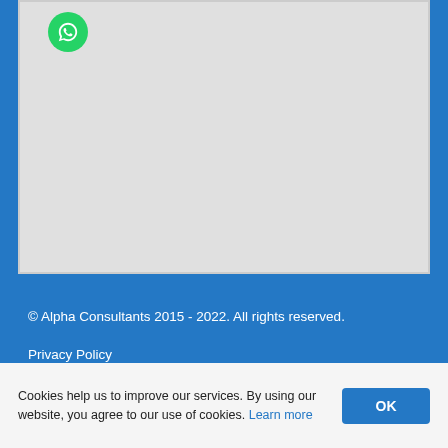[Figure (map): A light grey map area placeholder with a green WhatsApp button icon in the top-left corner.]
© Alpha Consultants 2015 - 2022. All rights reserved.
Privacy Policy
Cookies help us to improve our services. By using our website, you agree to our use of cookies. Learn more